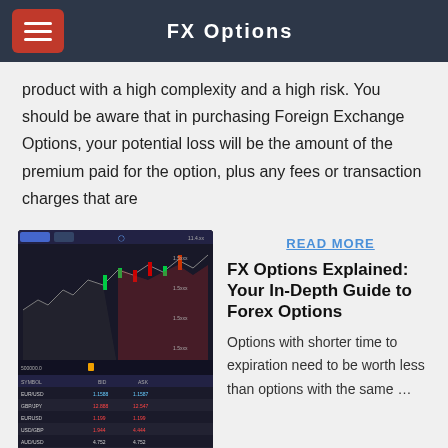FX Options
product with a high complexity and a high risk. You should be aware that in purchasing Foreign Exchange Options, your potential loss will be the amount of the premium paid for the option, plus any fees or transaction charges that are
[Figure (screenshot): Screenshot of a forex trading platform showing multiple charts with candlestick patterns, price tables with currency pairs and values, and trading interface elements on a dark background.]
READ MORE
FX Options Explained: Your In-Depth Guide to Forex Options
Options with shorter time to expiration need to be worth less than options with the same …